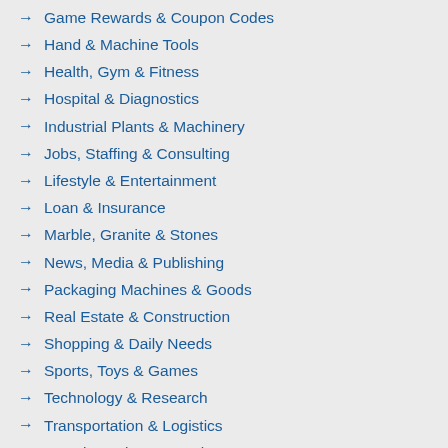Game Rewards & Coupon Codes
Hand & Machine Tools
Health, Gym & Fitness
Hospital & Diagnostics
Industrial Plants & Machinery
Jobs, Staffing & Consulting
Lifestyle & Entertainment
Loan & Insurance
Marble, Granite & Stones
News, Media & Publishing
Packaging Machines & Goods
Real Estate & Construction
Shopping & Daily Needs
Sports, Toys & Games
Technology & Research
Transportation & Logistics
Travel, Tourism & Hotels